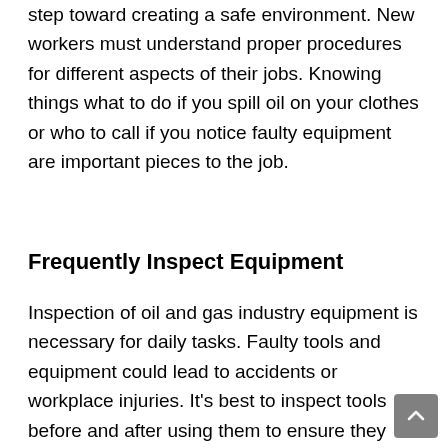step toward creating a safe environment. New workers must understand proper procedures for different aspects of their jobs. Knowing things what to do if you spill oil on your clothes or who to call if you notice faulty equipment are important pieces to the job.
Frequently Inspect Equipment
Inspection of oil and gas industry equipment is necessary for daily tasks. Faulty tools and equipment could lead to accidents or workplace injuries. It's best to inspect tools before and after using them to ensure they don't pose any danger to the next worker. You can check tool handles, oil pipelines, heavy equipment